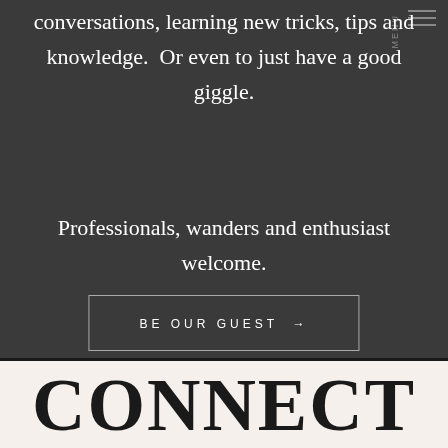conversations, learning new tricks, tips and knowledge.  Or even to just have a good giggle.
Professionals, wanders and enthusiast welcome.
BE OUR GUEST →
CONNECT